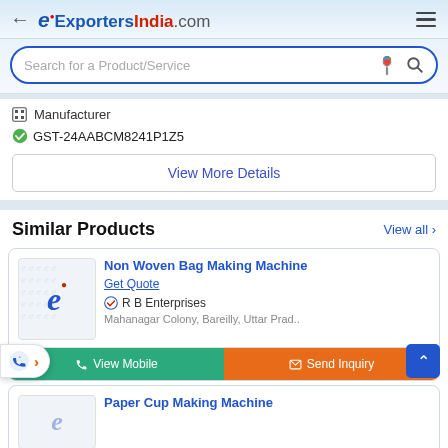ExportersIndia.com
Search for a Product/Service
Manufacturer
GST-24AABCM8241P1Z5
View More Details
Similar Products
View all
Non Woven Bag Making Machine
Get Quote
R B Enterprises
Mahanagar Colony, Bareilly, Uttar Prad..
View Mobile
Send Inquiry
Paper Cup Making Machine